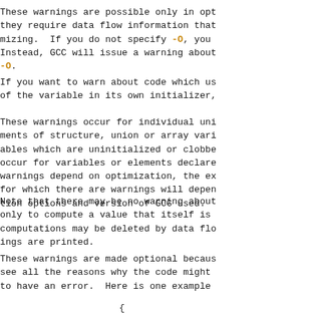These warnings are possible only in opt they require data flow information that mizing.  If you do not specify -O, you Instead, GCC will issue a warning about -O.
If you want to warn about code which us of the variable in its own initializer,
These warnings occur for individual uni ments of structure, union or array vari ables which are uninitialized or clobbe occur for variables or elements declare warnings depend on optimization, the ex for which there are warnings will depen tion options and version of GCC used.
Note that there may be no warning about only to compute a value that itself is computations may be deleted by data flo ings are printed.
These warnings are made optional becaus see all the reasons why the code might to have an error.  Here is one example
{